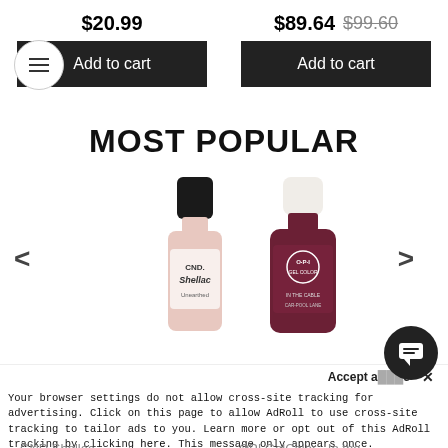$20.99
$89.64  $99.60
Add to cart
Add to cart
MOST POPULAR
[Figure (photo): CND Shellac nail polish bottle in pink/beige color labeled 'Unearthed']
[Figure (photo): OPI GelColor nail polish bottle in dark burgundy/wine color]
Accept a... e  X
Your browser settings do not allow cross-site tracking for advertising. Click on this page to allow AdRoll to use cross-site tracking to tailor ads to you. Learn more or opt out of this AdRoll tracking by clicking here. This message only appears once.
CND Shellac -
OPI GelColor - In the